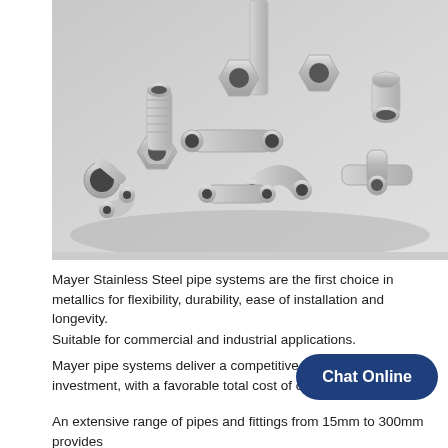[Figure (photo): Black and white photograph of a collection of stainless steel pipe fittings and connectors of various shapes and sizes scattered on a light surface.]
Mayer Stainless Steel pipe systems are the first choice in metallics for flexibility, durability, ease of installation and longevity.
Suitable for commercial and industrial applications.
Mayer pipe systems deliver a competitive return on investment, with a favorable total cost of ownership.
An extensive range of pipes and fittings from 15mm to 300mm provides